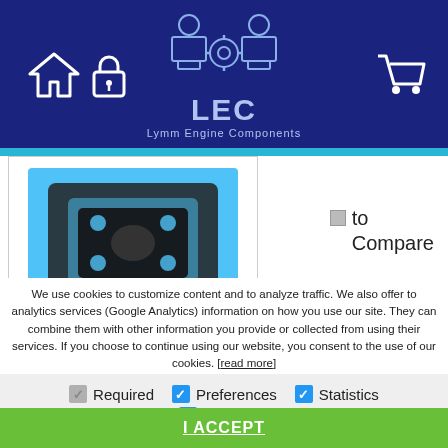[Figure (logo): LEC Lymm Engine Components logo with piston icons on dark navy header, with home icon, lock icon, and cart icon]
[Figure (photo): Head gasket product image - a black rubber/metal gasket in blue packaging]
to Compare
Head Gasket VAG Audi A3 A4 A5 A6 Q5 TT 2.0 TDi
£33.60
Ex Tax: £28.00
We use cookies to customize content and to analyze traffic. We also offer to analytics services (Google Analytics) information on how you use our site. They can combine them with other information you provide or collected from using their services. If you choose to continue using our website, you consent to the use of our cookies. [read more]
Required
Preferences
Statistics
Marketing
I ACCEPT